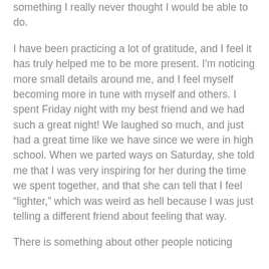something I really never thought I would be able to do.
I have been practicing a lot of gratitude, and I feel it has truly helped me to be more present. I'm noticing more small details around me, and I feel myself becoming more in tune with myself and others. I spent Friday night with my best friend and we had such a great night! We laughed so much, and just had a great time like we have since we were in high school. When we parted ways on Saturday, she told me that I was very inspiring for her during the time we spent together, and that she can tell that I feel “lighter,” which was weird as hell because I was just telling a different friend about feeling that way.
There is something about other people noticing